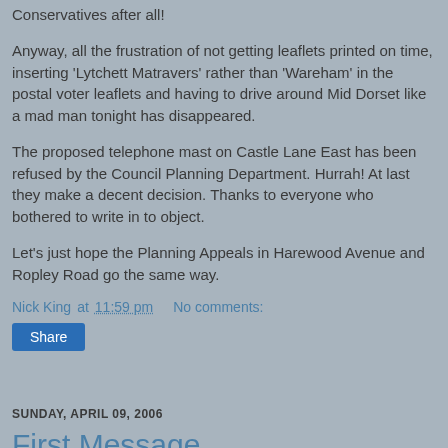Conservatives after all!
Anyway, all the frustration of not getting leaflets printed on time, inserting 'Lytchett Matravers' rather than 'Wareham' in the postal voter leaflets and having to drive around Mid Dorset like a mad man tonight has disappeared.
The proposed telephone mast on Castle Lane East has been refused by the Council Planning Department. Hurrah! At last they make a decent decision. Thanks to everyone who bothered to write in to object.
Let's just hope the Planning Appeals in Harewood Avenue and Ropley Road go the same way.
Nick King at 11:59 pm   No comments:
Share
SUNDAY, APRIL 09, 2006
First Message